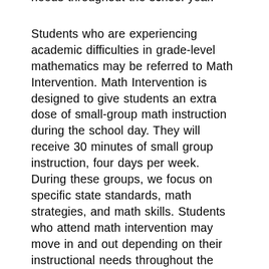needs throughout the school year.
Students who are experiencing academic difficulties in grade-level mathematics may be referred to Math Intervention. Math Intervention is designed to give students an extra dose of small-group math instruction during the school day. They will receive 30 minutes of small group instruction, four days per week. During these groups, we focus on specific state standards, math strategies, and math skills. Students who attend math intervention may move in and out depending on their instructional needs throughout the school year.
Students who attend Reading or Math